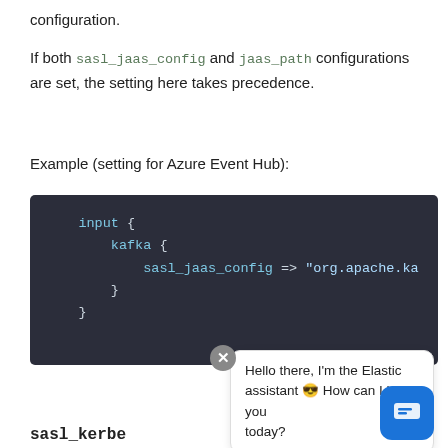configuration.
If both sasl_jaas_config and jaas_path configurations are set, the setting here takes precedence.
Example (setting for Azure Event Hub):
[Figure (screenshot): Dark code block showing Logstash input configuration with kafka plugin and sasl_jaas_config option set to org.apache.ka...]
Hello there, I'm the Elastic assistant 🤖 How can I help you today?
sasl_kerbe